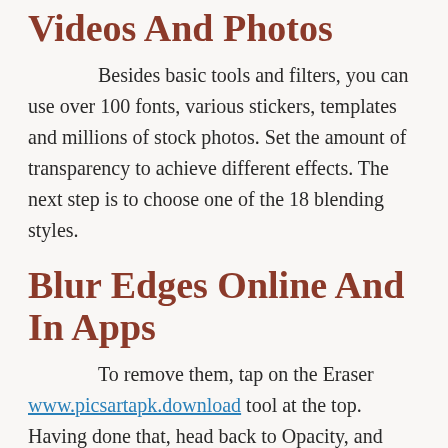Videos And Photos
Besides basic tools and filters, you can use over 100 fonts, various stickers, templates and millions of stock photos. Set the amount of transparency to achieve different effects. The next step is to choose one of the 18 blending styles.
Blur Edges Online And In Apps
To remove them, tap on the Eraser www.picsartapk.download tool at the top. Having done that, head back to Opacity, and adjust the opacity of the image as per your preference. Next, slide left on the bottom ribbon and select Blend. Here you will be given many options such as Normal, Add, Lighten, Multiply, etc. Once done, adjust the layer